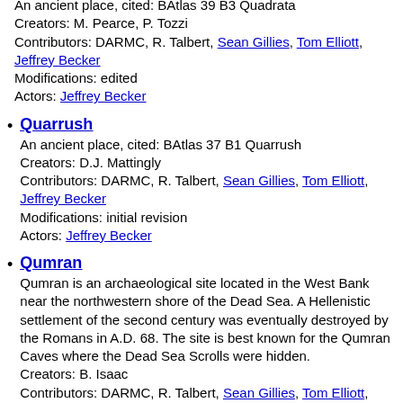An ancient place, cited: BAtlas 39 B3 Quadrata
Creators: M. Pearce, P. Tozzi
Contributors: DARMC, R. Talbert, Sean Gillies, Tom Elliott, Jeffrey Becker
Modifications: edited
Actors: Jeffrey Becker
Quarrush
An ancient place, cited: BAtlas 37 B1 Quarrush
Creators: D.J. Mattingly
Contributors: DARMC, R. Talbert, Sean Gillies, Tom Elliott, Jeffrey Becker
Modifications: initial revision
Actors: Jeffrey Becker
Qumran
Qumran is an archaeological site located in the West Bank near the northwestern shore of the Dead Sea. A Hellenistic settlement of the second century was eventually destroyed by the Romans in A.D. 68. The site is best known for the Qumran Caves where the Dead Sea Scrolls were hidden.
Creators: B. Isaac
Contributors: DARMC, R. Talbert, Sean Gillies, Tom Elliott, Jeffrey Becker